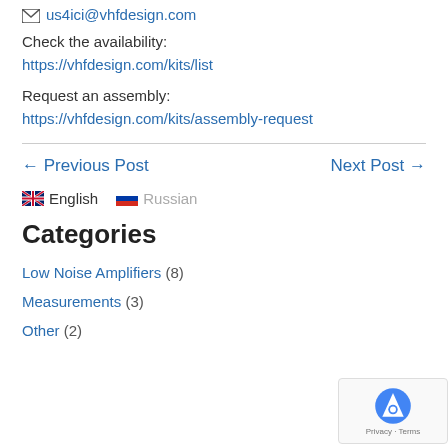✉ us4ici@vhfdesign.com
Check the availability:
https://vhfdesign.com/kits/list
Request an assembly:
https://vhfdesign.com/kits/assembly-request
← Previous Post
Next Post →
English  Russian
Categories
Low Noise Amplifiers (8)
Measurements (3)
Other (2)